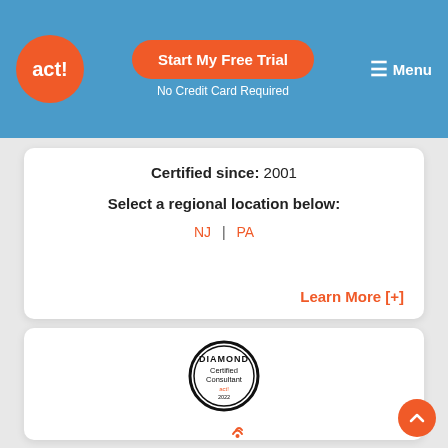act! | Start My Free Trial | No Credit Card Required | Menu
Certified since: 2001
Select a regional location below:
NJ | PA
Learn More [+]
[Figure (logo): Diamond Certified Consultant badge - circular black and white badge with text DIAMOND and Certified Consultant act! 2022]
[Figure (logo): active logo with wifi signal icon above the i]
Active Sales Technology
Location: Los Angeles, CA